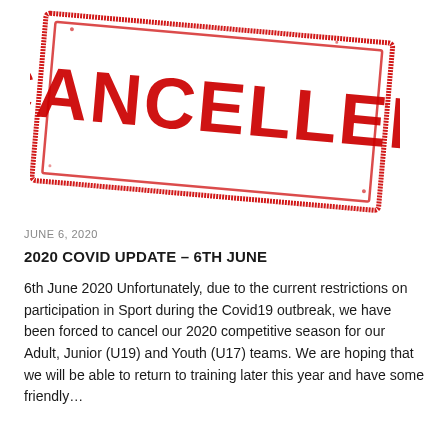[Figure (illustration): A red rubber stamp graphic reading CANCELLED in large bold distressed letters, with a rectangular border around the text, rotated slightly clockwise, rendered in dark red ink style.]
JUNE 6, 2020
2020 COVID UPDATE – 6TH JUNE
6th June 2020 Unfortunately, due to the current restrictions on participation in Sport during the Covid19 outbreak, we have been forced to cancel our 2020 competitive season for our Adult, Junior (U19) and Youth (U17) teams. We are hoping that we will be able to return to training later this year and have some friendly…